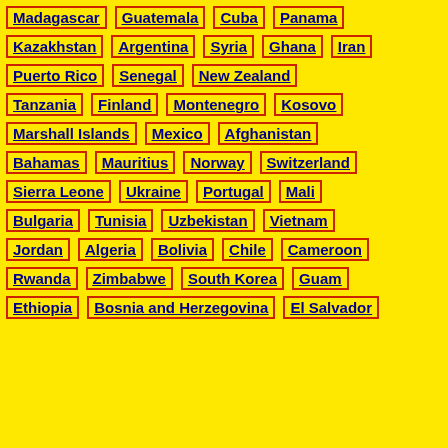Madagascar
Guatemala
Cuba
Panama
Kazakhstan
Argentina
Syria
Ghana
Iran
Puerto Rico
Senegal
New Zealand
Tanzania
Finland
Montenegro
Kosovo
Marshall Islands
Mexico
Afghanistan
Bahamas
Mauritius
Norway
Switzerland
Sierra Leone
Ukraine
Portugal
Mali
Bulgaria
Tunisia
Uzbekistan
Vietnam
Jordan
Algeria
Bolivia
Chile
Cameroon
Rwanda
Zimbabwe
South Korea
Guam
Ethiopia
Bosnia and Herzegovina
El Salvador